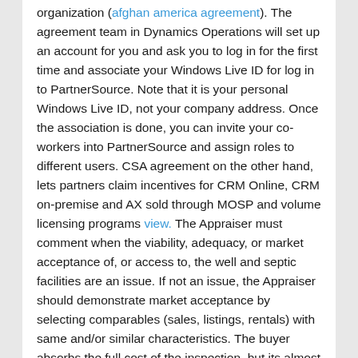organization (afghan america agreement). The agreement team in Dynamics Operations will set up an account for you and ask you to log in for the first time and associate your Windows Live ID for log in to PartnerSource. Note that it is your personal Windows Live ID, not your company address. Once the association is done, you can invite your co-workers into PartnerSource and assign roles to different users. CSA agreement on the other hand, lets partners claim incentives for CRM Online, CRM on-premise and AX sold through MOSP and volume licensing programs view. The Appraiser must comment when the viability, adequacy, or market acceptance of, or access to, the well and septic facilities are an issue. If not an issue, the Appraiser should demonstrate market acceptance by selecting comparables (sales, listings, rentals) with same and/or similar characteristics. The buyer absorbs the full cost of the inspection, but its almost always money well spent. In fact, if possible, it might be wise to have inspection done before you move forward in the buying process to the point of getting an appraisal, to ensure you are making a smart investment in the home